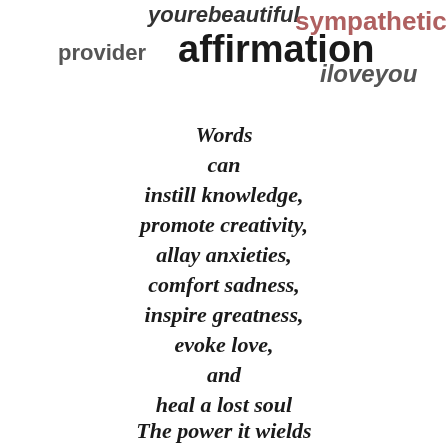[Figure (other): Word cloud at the top of the page with words: yourebeautiful, sympathetic, provider, affirmation, iloveyou in various sizes and colors]
Words
can
instill knowledge,
promote creativity,
allay anxieties,
comfort sadness,
inspire greatness,
evoke love,
and
heal a lost soul
The power it wields
has no bounds
So show integrity
when using your words